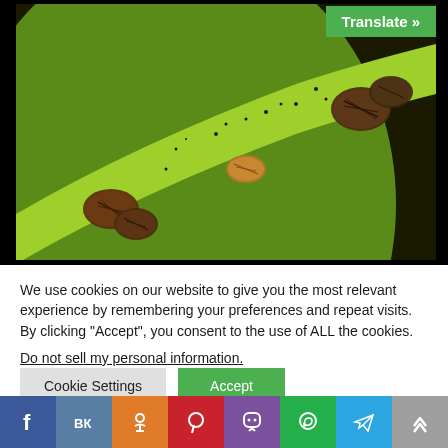[Figure (photo): Close-up macro photo of scale insects (armored scales) on a green plant leaf or stem. Several brown oval-shaped scale insects are visible along a lighter stripe on the bright green surface, with a dark background.]
Translate »
We use cookies on our website to give you the most relevant experience by remembering your preferences and repeat visits. By clicking "Accept", you consent to the use of ALL the cookies.
Do not sell my personal information.
Cookie Settings
Accept